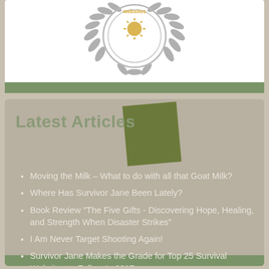[Figure (logo): Award badge/seal with laurel wreath design in gray and gold, with text 'websites' visible at top]
Latest Articles
Moving the Milk – What to do with all that Goat Milk?
Where Has Survivor Jane Been Lately?
Book Review "The Five Gifts - Discovering Hope, Healing, and Strength When Disaster Strikes"
I Am Never Target Shooting Again!
Survivor Jane Makes the Grade for Top 25 Survival Websites to Follow In 2017